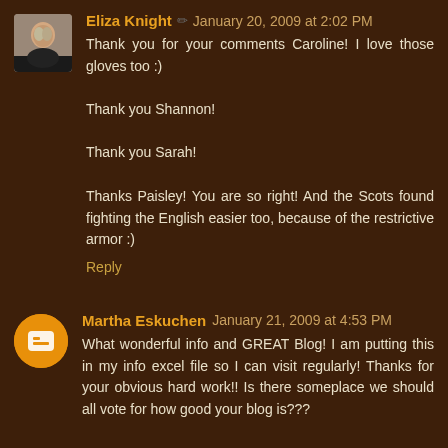Eliza Knight · January 20, 2009 at 2:02 PM — Thank you for your comments Caroline! I love those gloves too :) Thank you Shannon! Thank you Sarah! Thanks Paisley! You are so right! And the Scots found fighting the English easier too, because of the restrictive armor :) Reply
Martha Eskuchen January 21, 2009 at 4:53 PM — What wonderful info and GREAT Blog! I am putting this in my info excel file so I can visit regularly! Thanks for your obvious hard work!! Is there someplace we should all vote for how good your blog is???